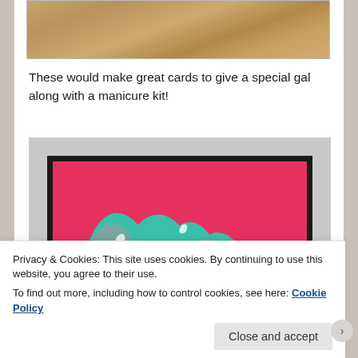[Figure (photo): Partial top photo showing a tan/burlap textured surface, cropped at the top of the page]
These would make great cards to give a special gal along with a manicure kit!
[Figure (photo): Photo of abstract fluid art painting with red, teal/turquoise, gray and white swirling colors in a black frame, displayed against a light gray background]
Privacy & Cookies: This site uses cookies. By continuing to use this website, you agree to their use.
To find out more, including how to control cookies, see here: Cookie Policy
Close and accept